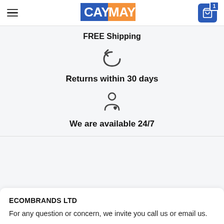CAYMAY — Cart (1)
FREE Shipping
[Figure (illustration): Return/undo arrow icon (curved arrow pointing left)]
Returns within 30 days
[Figure (illustration): Person with heart icon representing customer support]
We are available 24/7
ECOMBRANDS LTD
For any question or concern, we invite you call us or email us.